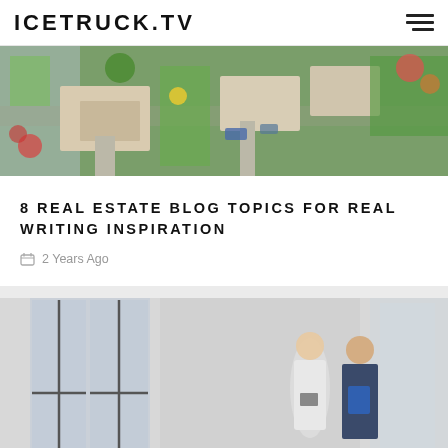ICETRUCK.TV
[Figure (photo): Aerial view of a residential neighborhood with houses, green lawn, driveways, and trees with colorful foliage]
8 REAL ESTATE BLOG TOPICS FOR REAL WRITING INSPIRATION
2 Years Ago
[Figure (photo): Three people in an office space: a woman in a white sleeveless top holding a folder in the foreground smiling, two men in the background near large windows, one in a suit holding a blue folder]